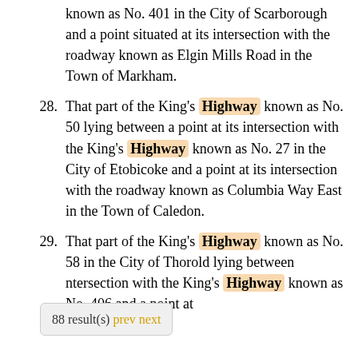known as No. 401 in the City of Scarborough and a point situated at its intersection with the roadway known as Elgin Mills Road in the Town of Markham.
28. That part of the King's Highway known as No. 50 lying between a point at its intersection with the King's Highway known as No. 27 in the City of Etobicoke and a point at its intersection with the roadway known as Columbia Way East in the Town of Caledon.
29. That part of the King's Highway known as No. 58 in the City of Thorold lying between intersection with the King's Highway known as No. 406 and a point at
88 result(s) prev next